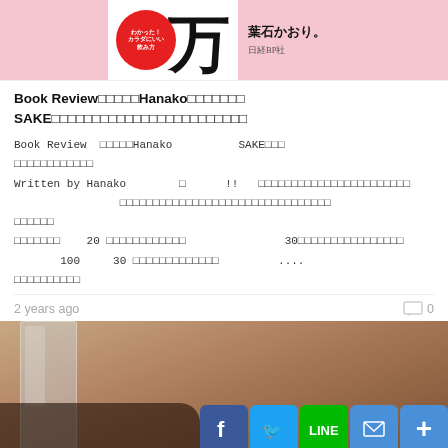[Figure (photo): Book cover image with pink background, red circle with Japanese text about drinking, large Japanese character, and author name Yakuishi Kaori]
Book Review□□□□□Hanako□□□□□□□ SAKE□□□□□□□□□□□□□□□□□□□□□□□□
Book Review  □□□□□Hanako          SAKE□□□           □□□□□□□□□□□□
Written by Hanako        □      !!   □□□□□□□□□□□□□□□□□□□□□□□
                □□□□□□□□□□□□□□□□□□□□□□□□□□□□□□□□           □□□□□□
□□□□□□□    20 □□□□□□□□□□□□               30□□□□□□□□□□□□□□□□
       100     30 □□□□□□□□□□□□□         ....          □□□□□□□□□□
2 years ago
0
[Figure (photo): Photo of a glass of sake/water on a wooden table with dark background, social media sharing buttons (Facebook, Twitter, LINE, Mail, Plus) overlaid at bottom right]